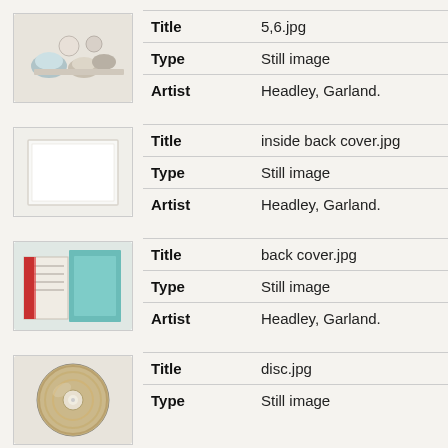[Figure (photo): Thumbnail of item 5,6.jpg showing decorative objects]
| Title | 5,6.jpg |
| Type | Still image |
| Artist | Headley, Garland. |
[Figure (photo): Thumbnail of inside back cover.jpg showing a white/light cover]
| Title | inside back cover.jpg |
| Type | Still image |
| Artist | Headley, Garland. |
[Figure (photo): Thumbnail of back cover.jpg showing a teal/book cover]
| Title | back cover.jpg |
| Type | Still image |
| Artist | Headley, Garland. |
[Figure (photo): Thumbnail of disc.jpg showing a CD/disc]
| Title | disc.jpg |
| Type | Still image |